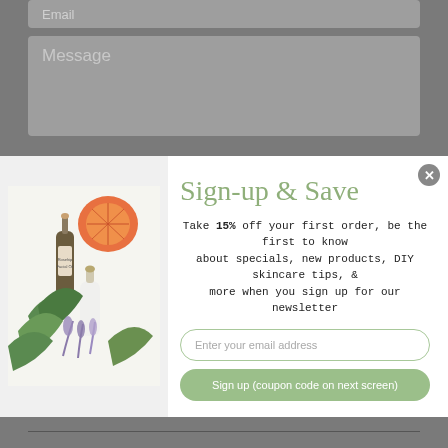Email
Message
Sign-up & Save
Take 15% off your first order, be the first to know about specials, new products, DIY skincare tips, & more when you sign up for our newsletter
Enter your email address
Sign up (coupon code on next screen)
[Figure (photo): Flatlay of skincare products including a dropper bottle, white bottle, herbs, lavender, and a halved grapefruit]
CUSTOMER SERVICE